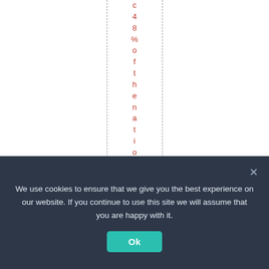c48%ofthenationalGD
We use cookies to ensure that we give you the best experience on our website. If you continue to use this site we will assume that you are happy with it.